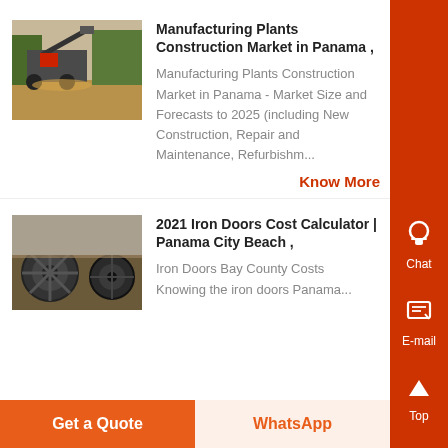Manufacturing Plants Construction Market in Panama ,
Manufacturing Plants Construction Market in Panama - Market Size and Forecasts to 2025 (including New Construction, Repair and Maintenance, Refurbishm...
Know More
[Figure (photo): Industrial construction site with heavy machinery and equipment]
2021 Iron Doors Cost Calculator | Panama City Beach ,
Iron Doors Bay County Costs
Knowing the iron doors Panama...
[Figure (photo): Industrial machinery, large cable reels or spools in a construction setting]
Get a Quote
WhatsApp